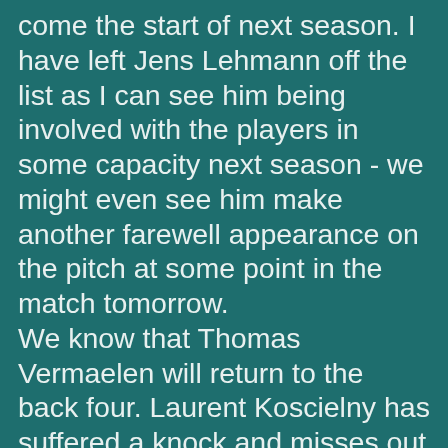come the start of next season. I have left Jens Lehmann off the list as I can see him being involved with the players in some capacity next season - we might even see him make another farewell appearance on the pitch at some point in the match tomorrow. We know that Thomas Vermaelen will return to the back four. Laurent Koscielny has suffered a knock and misses out (he's had an up and down first season in English football and a little early rest will do him some good). Arsenal have missed Thomas Vermaelen this season, of that there is no doubt. Would we have won the League had he not got injured? The answer is no, because Johan Djourou would have not got a look in had he been fit - remember that Djourou was very much behind